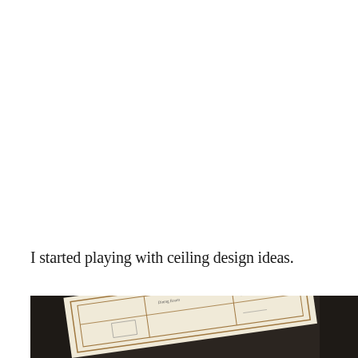I started playing with ceiling design ideas.
[Figure (photo): A photograph of a hand-drawn architectural ceiling design sketch on beige paper, showing rectangular grid patterns and room labels, placed on a dark wooden surface.]